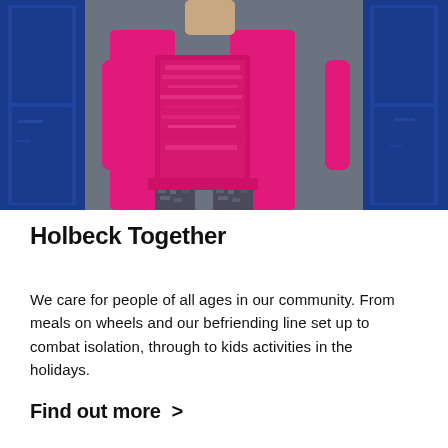[Figure (photo): A person wearing a bright pink/magenta coat and patterned leggings standing in front of blue painted wooden doors or shutters.]
Holbeck Together
We care for people of all ages in our community. From meals on wheels and our befriending line set up to combat isolation, through to kids activities in the holidays.
Find out more >